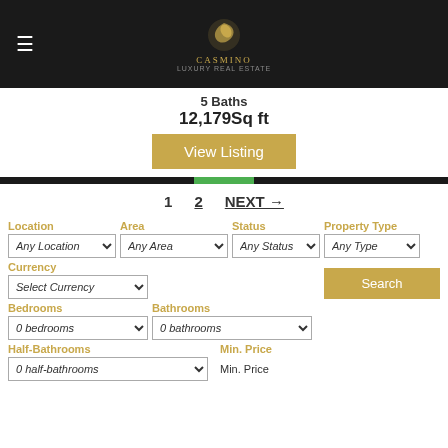Casmino — navigation header with logo
5 Baths
12,179Sq ft
View Listing
1  2  NEXT →
Location  Area  Status  Property Type
Any Location  Any Area  Any Status  Any Type
Currency
Select Currency
Search
Bedrooms  Bathrooms
0 bedrooms  0 bathrooms
Half-Bathrooms  Min. Price
0 half-bathrooms  Min. Price